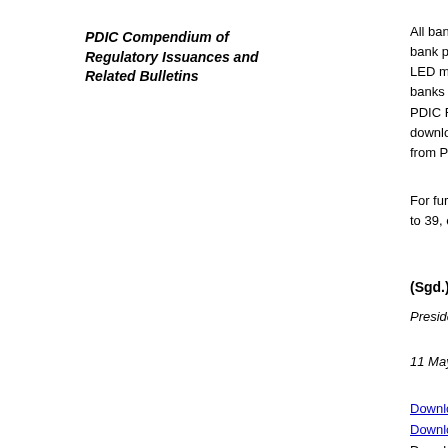PDIC Compendium of Regulatory Issuances and Related Bulletins
All banks bank premises LED monitors banks are PDIC Fa download from PDIC
For further to 39, or a
(Sgd.) RO
President
11 May 2
Download
Download
Download